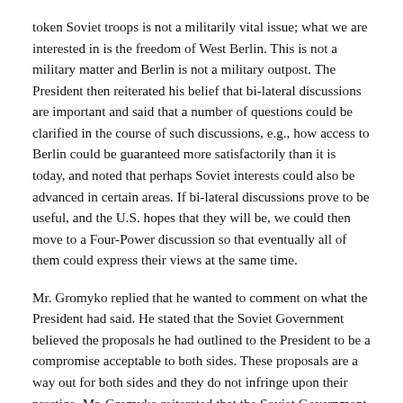token Soviet troops is not a militarily vital issue; what we are interested in is the freedom of West Berlin. This is not a military matter and Berlin is not a military outpost. The President then reiterated his belief that bi-lateral discussions are important and said that a number of questions could be clarified in the course of such discussions, e.g., how access to Berlin could be guaranteed more satisfactorily than it is today, and noted that perhaps Soviet interests could also be advanced in certain areas. If bi-lateral discussions prove to be useful, and the U.S. hopes that they will be, we could then move to a Four-Power discussion so that eventually all of them could express their views at the same time.
Mr. Gromyko replied that he wanted to comment on what the President had said. He stated that the Soviet Government believed the proposals he had outlined to the President to be a compromise acceptable to both sides. These proposals are a way out for both sides and they do not infringe upon their prestige. Mr. Gromyko reiterated that the Soviet Government did not believe these proposals affected U.S. prestige by one iota. Nor did they affect the prestige of the U.S.S.R., which—as Mr. Khrushchev had stated in Vienna—does not need West Berlin.